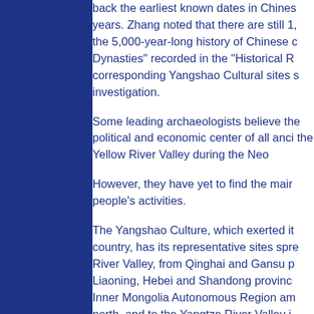back the earliest known dates in Chinese years. Zhang noted that there are still 1, the 5,000-year-long history of Chinese Dynasties" recorded in the "Historical R corresponding Yangshao Cultural sites s investigation.
Some leading archaeologists believe the political and economic center of all anci the Yellow River Valley during the Neo
However, they have yet to find the main people's activities.
The Yangshao Culture, which exerted it country, has its representative sites spre River Valley, from Qinghai and Gansu p Liaoning, Hebei and Shandong provinc Inner Mongolia Autonomous Region am north, and to the Yangtze River Valley i none of them could claim themselves th